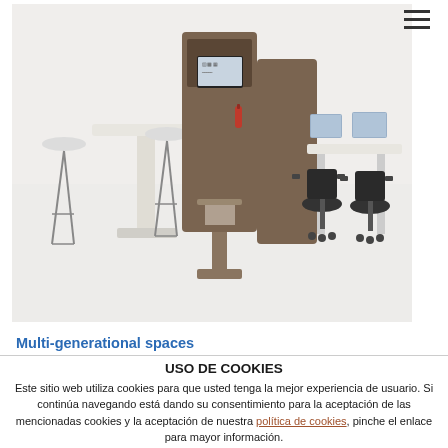[Figure (photo): Office furniture showroom photo showing a white high table with bar stools, a brown acoustic partition panel with a mounted screen displaying content, and two black office chairs at white desks with computers in the background. White floor and background.]
Multi-generational spaces
USO DE COOKIES
Este sitio web utiliza cookies para que usted tenga la mejor experiencia de usuario. Si continúa navegando está dando su consentimiento para la aceptación de las mencionadas cookies y la aceptación de nuestra política de cookies, pinche el enlace para mayor información.
ACEPTAR